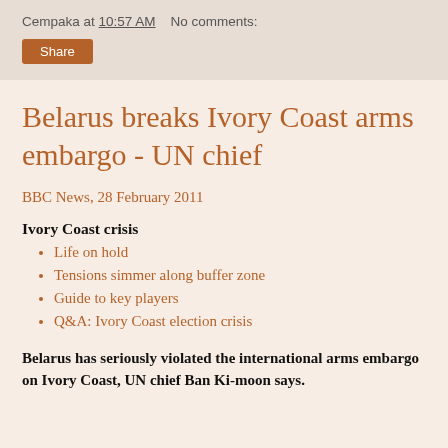Cempaka at 10:57 AM   No comments:
Share
Belarus breaks Ivory Coast arms embargo - UN chief
BBC News, 28 February 2011
Ivory Coast crisis
Life on hold
Tensions simmer along buffer zone
Guide to key players
Q&A: Ivory Coast election crisis
Belarus has seriously violated the international arms embargo on Ivory Coast, UN chief Ban Ki-moon says.